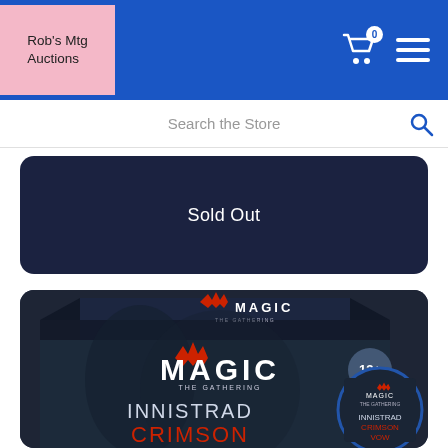Rob's Mtg Auctions
Search the Store
Sold Out
[Figure (photo): Magic: The Gathering Innistrad Crimson Vow product box with 13+ age rating badge and a circular inset showing a smaller product image. Dark gothic fantasy artwork.]